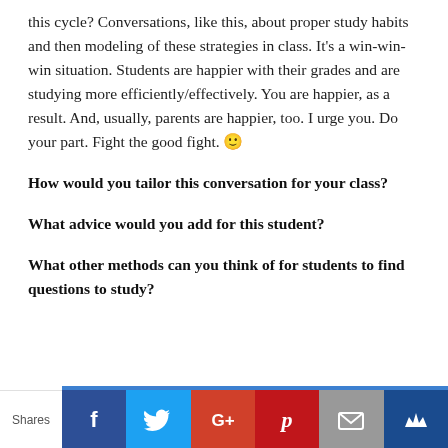this cycle? Conversations, like this, about proper study habits and then modeling of these strategies in class. It's a win-win-win situation. Students are happier with their grades and are studying more efficiently/effectively. You are happier, as a result. And, usually, parents are happier, too. I urge you. Do your part. Fight the good fight. 🙂
How would you tailor this conversation for your class?
What advice would you add for this student?
What other methods can you think of for students to find questions to study?
Shares [Facebook] [Twitter] [Google+] [Pinterest] [Email] [Knot]